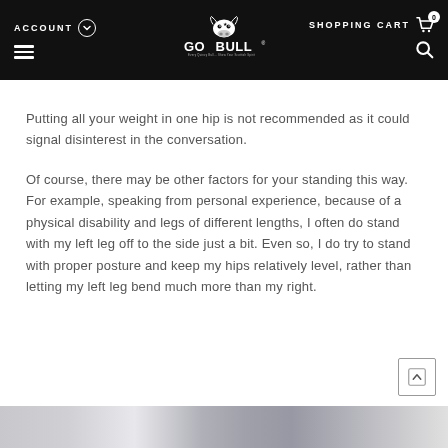ACCOUNT | GO BULL | SHOPPING CART 0
Putting all your weight in one hip is not recommended as it could signal disinterest in the conversation.
Of course, there may be other factors for your standing this way. For example, speaking from personal experience, because of a physical disability and legs of different lengths, I often do stand with my left leg off to the side just a bit. Even so, I do try to stand with proper posture and keep my hips relatively level, rather than letting my left leg bend much more than my right.
[Figure (photo): Bottom portion of a photo showing legs/lower body, partially visible at the bottom of the page.]